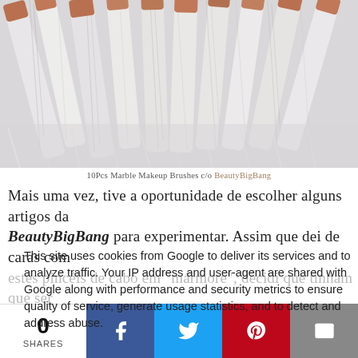[Figure (photo): Close-up photo of 10 marble-patterned makeup brushes with rose gold tips arranged on a white fur surface]
10Pcs Marble Makeup Brushes c/o BeautyBigBang
Mais uma vez, tive a oportunidade de escolher alguns artigos da BeautyBigBang para experimentar. Assim que dei de caras com estes pincéis de cabo em "mármore", decidi que tinham que ser meus. Não estava de todo a precisar de pincéis, admito. Mas co...
This site uses cookies from Google to deliver its services and to analyze traffic. Your IP address and user-agent are shared with Google along with performance and security metrics to ensure quality of service, generate usage statistics, and to detect and address abuse.
Once again I had a chance to choose some from BeautyBang from to try out. As soon as I came across these marble-style brushes, I decided that they would have to be mine. I admit I wasn't really in need...
0
SHARES